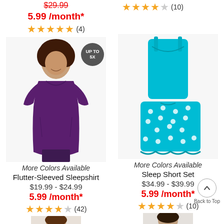$29.99
5.99 /month*
★★★★★ (4)
[Figure (photo): Woman wearing a purple flutter-sleeved sleepshirt dress, with an 'UP TO 5X' badge overlay]
[Figure (photo): Teal/turquoise sleep short set with matching cami top and polka-dot shorts]
★★★★½ (10)
More Colors Available
Flutter-Sleeved Sleepshirt
$19.99 - $24.99
5.99 /month*
★★★★½ (42)
More Colors Available
Sleep Short Set
$34.99 - $39.99
5.99 /month*
★★★★½ (10)
[Figure (photo): Partial bottom image of a model on the left column]
[Figure (photo): Partial bottom image of a model on the right column]